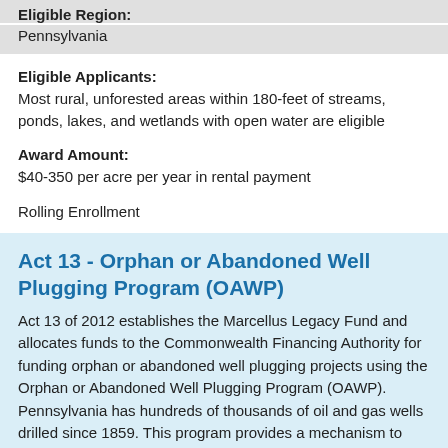Eligible Region:
Pennsylvania
Eligible Applicants:
Most rural, unforested areas within 180-feet of streams, ponds, lakes, and wetlands with open water are eligible
Award Amount:
$40-350 per acre per year in rental payment
Rolling Enrollment
Act 13 - Orphan or Abandoned Well Plugging Program (OAWP)
Act 13 of 2012 establishes the Marcellus Legacy Fund and allocates funds to the Commonwealth Financing Authority for funding orphan or abandoned well plugging projects using the Orphan or Abandoned Well Plugging Program (OAWP). Pennsylvania has hundreds of thousands of oil and gas wells drilled since 1859. This program provides a mechanism to plug abandoned and orphaned wells that have the potential to cause health, safety or environmental concerns. Projects which involve the cleaning out and plugging of abandoned and orphan oil and gas wells; stray gas mitigation systems; and